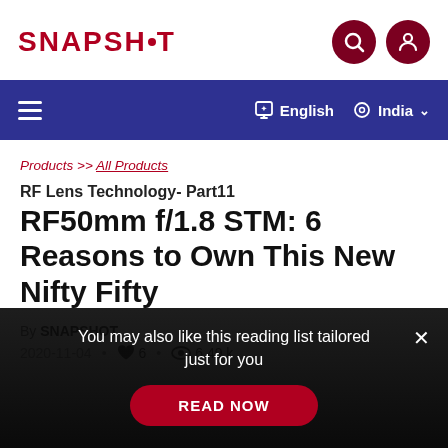SNAPSHOT
Products >> All Products
RF Lens Technology- Part11 RF50mm f/1.8 STM: 6 Reasons to Own This New Nifty Fifty
By SNAPSHOT
2020-11-04 • ♥ 6 • 👁 6.49 k
You may also like this reading list tailored just for you READ NOW